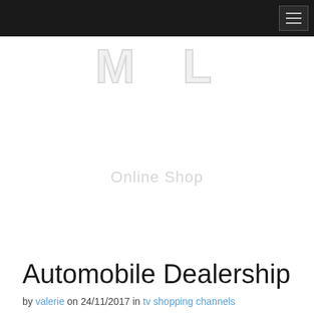[Figure (logo): ML Online Shop logo — large stylized letters M and L in light gray outline, with 'Online Shop' text below in light gray]
Automobile Dealership
by valerie on 24/11/2017 in tv shopping channels